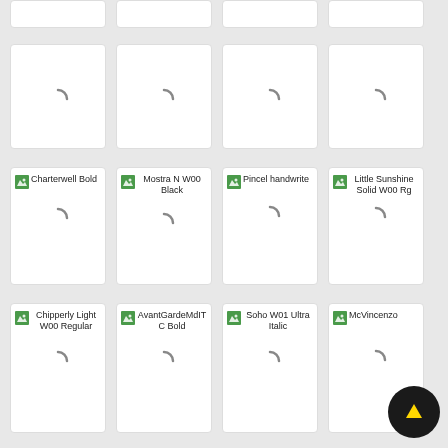[Figure (screenshot): Font browsing UI grid showing font preview cards. Row 1 (partial): 4 blank white cards cut off at top. Row 2: 4 white cards each with a loading spinner. Row 3: 4 font cards with image icon and labels: 'Charterwell Bold', 'Mostra N W00 Black', 'Pincel handwrite', 'Little Sunshine Solid W00 Rg', each with a loading spinner. Row 4: 4 font cards: 'Chipperly Light W00 Regular', 'AvantGardeMdITC Bold', 'Soho W01 Ultra Italic', 'McVincenzo', each with a loading spinner. A yellow-arrow scroll-to-top button overlays the bottom-right corner.]